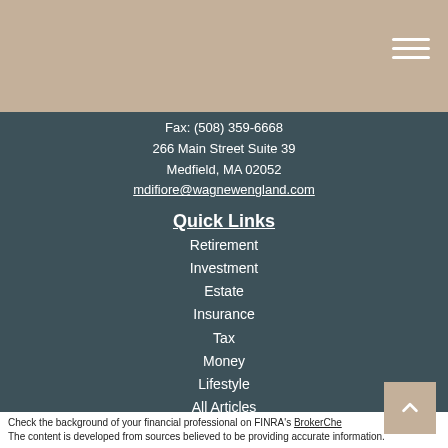Fax: (508) 359-6668
266 Main Street Suite 39
Medfield, MA 02052
mdifiore@wagnewengland.com
Quick Links
Retirement
Investment
Estate
Insurance
Tax
Money
Lifestyle
All Articles
All Videos
All Calculators
All Presentations
Check the background of your financial professional on FINRA's BrokerCheck
The content is developed from sources believed to be providing accurate information.